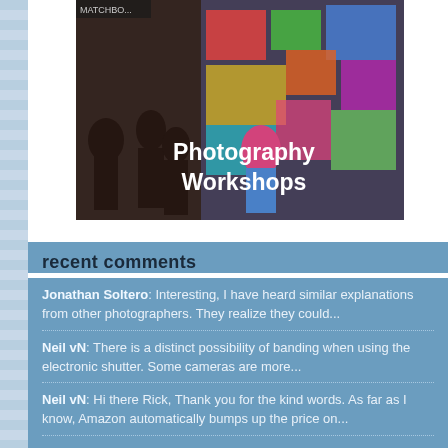[Figure (photo): Photography workshop scene showing people in a colorful venue with graffiti-style artwork on walls, with text overlay reading 'Photography Workshops']
recent comments
Jonathan Soltero: Interesting, I have heard similar explanations from other photographers. They realize they could...
Neil vN: There is a distinct possibility of banding when using the electronic shutter. Some cameras are more...
Neil vN: Hi there Rick, Thank you for the kind words. As far as I know, Amazon automatically bumps up the price on...
Rick: Neil, I was having problems with my somewhat new Nikon z6ii flash not working correctly (or so I thought) and I...
Simon vail: Thank you for the post. I'd like to ask if you experience banding when using electronic shutter under...